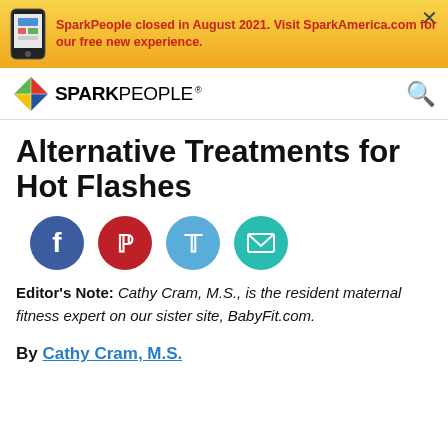SparkPeople closed in August 2021. Visit SparkAmerica.com for our free new experience.
[Figure (logo): SparkPeople logo with colorful diamond and bold SPARKPEOPLE text]
Alternative Treatments for Hot Flashes
[Figure (infographic): Social sharing icons: Facebook, Pinterest, Twitter, Email]
Editor's Note: Cathy Cram, M.S., is the resident maternal fitness expert on our sister site, BabyFit.com.
By Cathy Cram, M.S.